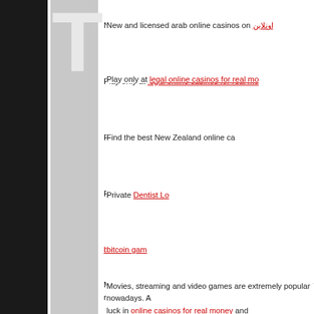New and licensed arab online casinos on اونلاين
Play only at legal online casinos for real mo...
Find the best New Zealand online ca...
Private Dentist Lo...
bitcoin gam...
Movies, streaming and video games are extremely popular nowadays. A... luck in online casinos for real money and...
If you are looking where to play, check out Quatro Casino C...
Alla casino utan svensk licens hittar du hos Ca...
All info about new online casinos in Finland yo...
Best Finnish sports betting tips, visit vedonlyc...
For the top swedish casinos visit c...